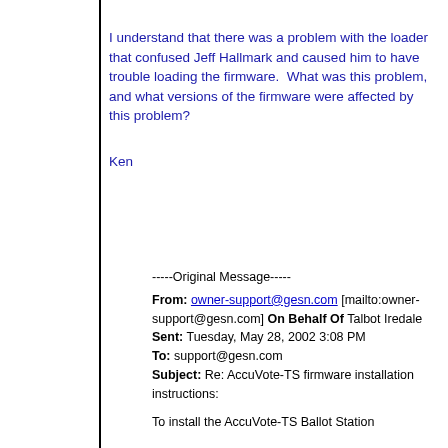I understand that there was a problem with the loader that confused Jeff Hallmark and caused him to have trouble loading the firmware.  What was this problem, and what versions of the firmware were affected by this problem?
Ken
-----Original Message-----
From: owner-support@gesn.com [mailto:owner-support@gesn.com] On Behalf Of Talbot Iredale
Sent: Tuesday, May 28, 2002 3:08 PM
To: support@gesn.com
Subject: Re: AccuVote-TS firmware installation instructions:
To install the AccuVote-TS Ballot Station